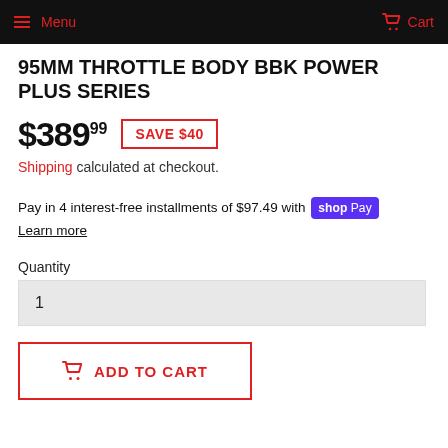Menu  Cart
95MM THROTTLE BODY BBK POWER PLUS SERIES
$389.99  SAVE $40
Shipping calculated at checkout.
Pay in 4 interest-free installments of $97.49 with shop Pay
Learn more
Quantity
1
ADD TO CART